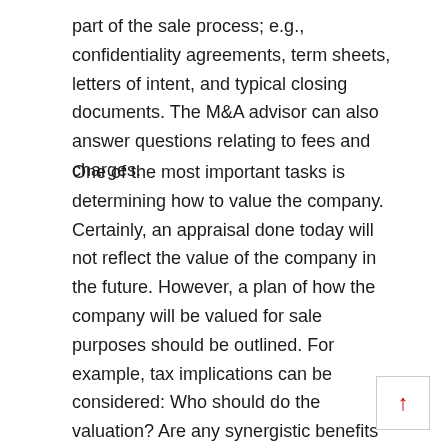part of the sale process; e.g., confidentiality agreements, term sheets, letters of intent, and typical closing documents. The M&A advisor can also answer questions relating to fees and charges.
One of the most important tasks is determining how to value the company. Certainly, an appraisal done today will not reflect the value of the company in the future. However, a plan of how the company will be valued for sale purposes should be outlined. For example, tax implications can be considered: Who should do the valuation? Are any synergistic benefits outlined that might impact the value? How would a potential buyer look at the value of the company?